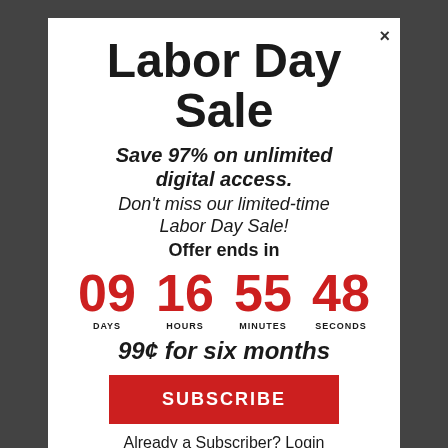Labor Day Sale
Save 97% on unlimited digital access. Don't miss our limited-time Labor Day Sale! Offer ends in
[Figure (infographic): Countdown timer showing 09 DAYS, 16 HOURS, 55 MINUTES, 48 SECONDS in red numerals]
99¢ for six months
SUBSCRIBE
Already a Subscriber? Login